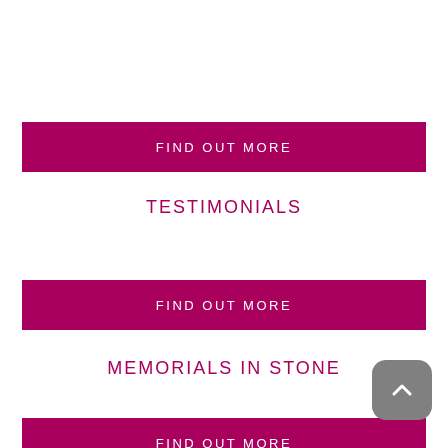FIND OUT MORE
TESTIMONIALS
FIND OUT MORE
MEMORIALS IN STONE
FIND OUT MORE